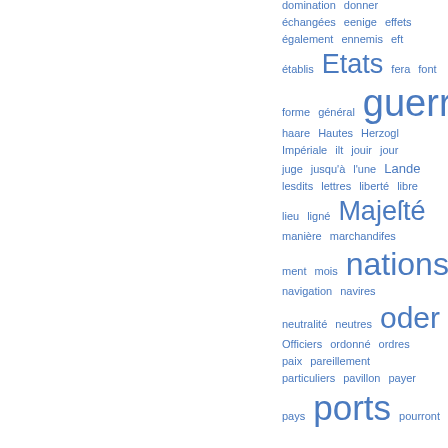[Figure (other): Word cloud in French/German with blue words of varying sizes. Larger words include: guerre, Etats, Majesté, nations, oder, ports. Smaller words include: domination, donner, échangées, eenige, effets, également, ennemis, eft, établis, fera, font, forme, général, haare, Hautes, Herzogl, Impériale, ilt, jouir, jour, juge, jusqu'à, l'une, Lande, lesdits, lettres, liberté, libre, lieu, ligné, manière, marchandifes, ment, mois, navigation, navires, neutralité, neutres, Officiers, ordonné, ordres, paix, pareillement, particuliers, pavillon, payer, pays, pourront.]